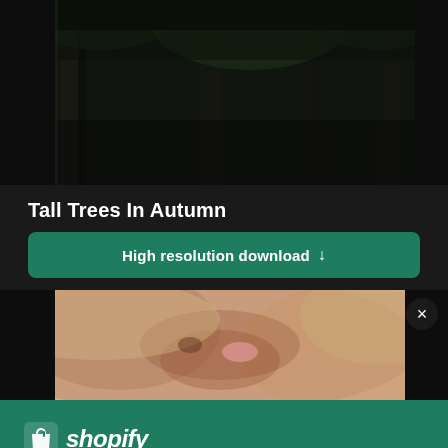[Figure (photo): Dark forest scene with tall trees in autumn, dark background, trees with sparse foliage visible at top of image]
Tall Trees In Autumn
High resolution download ↓
[Figure (photo): Close-up blurred photo of what appears to be a dog or animal, warm tan/brown tones]
[Figure (logo): Shopify logo with shopping bag icon and italic shopify text]
Need an online store for your business?
Start free trial